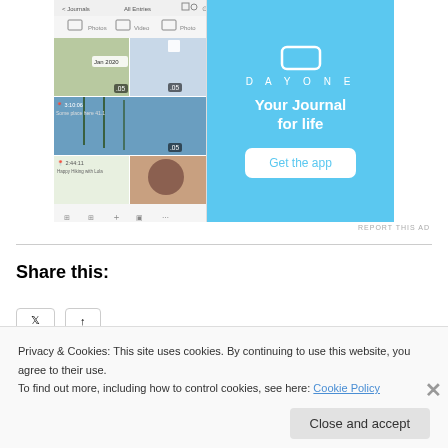[Figure (screenshot): DayOne app advertisement banner with a phone mockup on the left showing a photo journal app interface, and on the right a blue background with DayOne logo, tagline 'Your Journal for life' and a 'Get the app' button.]
REPORT THIS AD
Share this:
Privacy & Cookies: This site uses cookies. By continuing to use this website, you agree to their use.
To find out more, including how to control cookies, see here: Cookie Policy